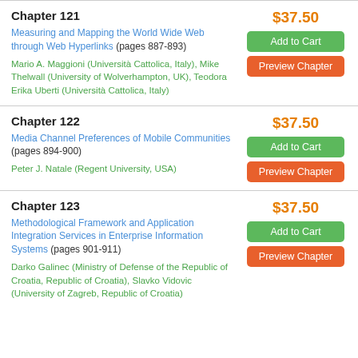Chapter 121
Measuring and Mapping the World Wide Web through Web Hyperlinks (pages 887-893)
Mario A. Maggioni (Università Cattolica, Italy), Mike Thelwall (University of Wolverhampton, UK), Teodora Erika Uberti (Università Cattolica, Italy)
$37.50
Chapter 122
Media Channel Preferences of Mobile Communities (pages 894-900)
Peter J. Natale (Regent University, USA)
$37.50
Chapter 123
Methodological Framework and Application Integration Services in Enterprise Information Systems (pages 901-911)
Darko Galinec (Ministry of Defense of the Republic of Croatia, Republic of Croatia), Slavko Vidovic (University of Zagreb, Republic of Croatia)
$37.50